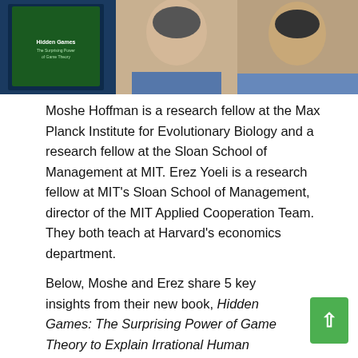[Figure (photo): Photo of two men (Moshe Hoffman and Erez Yoeli) with a book cover visible on the left side. The book appears to be 'Hidden Games: The Surprising Power of Game Theory to Explain Irrational Human Behavior'.]
Moshe Hoffman is a research fellow at the Max Planck Institute for Evolutionary Biology and a research fellow at the Sloan School of Management at MIT. Erez Yoeli is a research fellow at MIT's Sloan School of Management, director of the MIT Applied Cooperation Team. They both teach at Harvard's economics department.
Below, Moshe and Erez share 5 key insights from their new book, Hidden Games: The Surprising Power of Game Theory to Explain Irrational Human Behavior. Listen to the audio version –